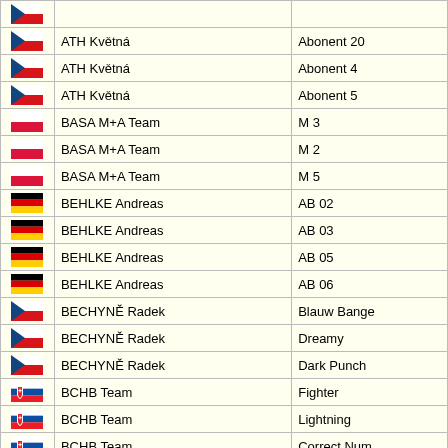| Flag | Name | Entry |
| --- | --- | --- |
| CZ | ATH Květná | Abonent 20 |
| CZ | ATH Květná | Abonent 4 |
| CZ | ATH Květná | Abonent 5 |
| PL | BASA M+A Team | M 3 |
| PL | BASA M+A Team | M 2 |
| PL | BASA M+A Team | M 5 |
| DE | BEHLKE Andreas | AB 02 |
| DE | BEHLKE Andreas | AB 03 |
| DE | BEHLKE Andreas | AB 05 |
| DE | BEHLKE Andreas | AB 06 |
| CZ | BECHYNĚ Radek | Blauw Bange |
| CZ | BECHYNĚ Radek | Dreamy |
| CZ | BECHYNĚ Radek | Dark Punch |
| SK | BCHB Team | Fighter |
| SK | BCHB Team | Lightning |
| SK | BCHB Team | Correct Num |
| SK | BCHB Team | Fifteen |
| SK | BINDAS Štefan JUN. | SBJ 01 |
| SK | BINDAS Štefan JUN. | SBJ 10 |